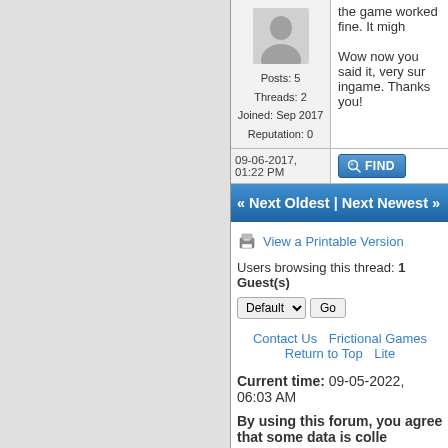Posts: 5
Threads: 2
Joined: Sep 2017
Reputation: 0
Wow now you said it, very sur ingame. Thanks you!
09-06-2017, 01:22 PM
« Next Oldest | Next Newest »
View a Printable Version
Users browsing this thread: 1 Guest(s)
Contact Us  Frictional Games  Return to Top  Lite
Current time: 09-05-2022, 06:03 AM
By using this forum, you agree that some data is colle
Powered By MyBB, © 2002-2022 MyBB Group.